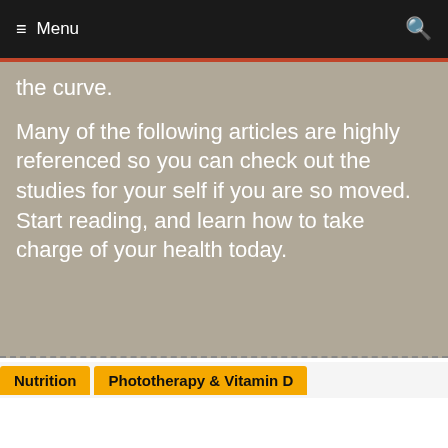≡ Menu
the curve.
Many of the following articles are highly referenced so you can check out the studies for your self if you are so moved. Start reading, and learn how to take charge of your health today.
Nutrition
Phototherapy & Vitamin D